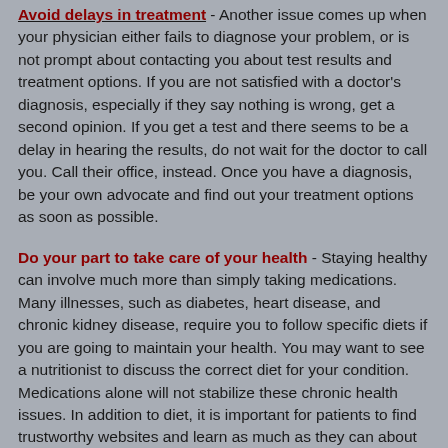Avoid delays in treatment - Another issue comes up when your physician either fails to diagnose your problem, or is not prompt about contacting you about test results and treatment options.  If you are not satisfied with a doctor's diagnosis, especially if they say nothing is wrong, get a second opinion.  If you get a test and there seems to be a delay in hearing the results, do not wait for the doctor to call you. Call their office, instead.  Once you have a diagnosis, be your own advocate and find out your treatment options as soon as possible.
Do your part to take care of your health - Staying healthy can involve much more than simply taking medications.  Many illnesses, such as diabetes, heart disease, and chronic kidney disease, require you to follow specific diets if you are going to maintain your health.  You may want to see a nutritionist to discuss the correct diet for your condition.  Medications alone will not stabilize these chronic health issues.  In addition to diet, it is important for patients to find trustworthy websites and learn as much as they can about their conditions.  Good websites are WebMD, Cleveland Clinic, the Mayo Clinic and the national association for your specific health condition. Discuss what you learn with...